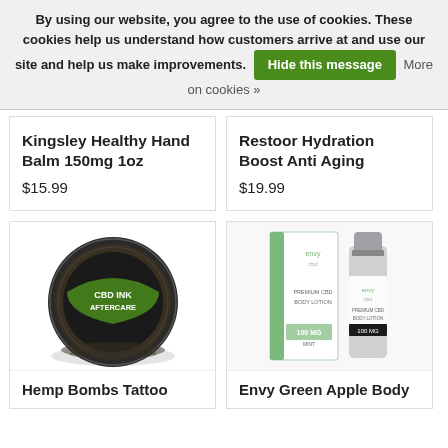By using our website, you agree to the use of cookies. These cookies help us understand how customers arrive at and use our site and help us make improvements. Hide this message  More on cookies »
Kingsley Healthy Hand Balm 150mg 1oz
$15.99
Restoor Hydration Boost Anti Aging
$19.99
[Figure (photo): CBD Ink Aftercare product tin with green and black label]
Hemp Bombs Tattoo
[Figure (photo): Envy CBD Premium CBD Body Lotion products - box and bottle]
Envy Green Apple Body